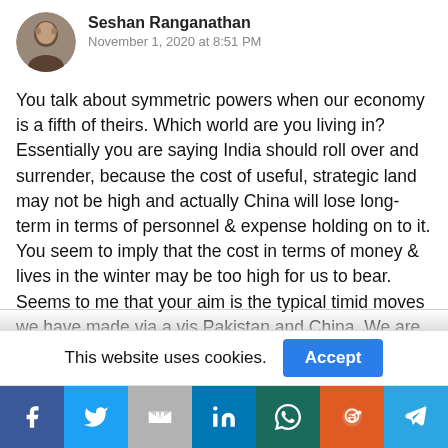[Figure (photo): Circular avatar photo of Seshan Ranganathan]
Seshan Ranganathan
November 1, 2020 at 8:51 PM
You talk about symmetric powers when our economy is a fifth of theirs. Which world are you living in?
Essentially you are saying India should roll over and surrender, because the cost of useful, strategic land may not be high and actually China will lose long- term in terms of personnel & expense holding on to it.
You seem to imply that the cost in terms of money & lives in the winter may be too high for us to bear.
Seems to me that your aim is the typical timid moves we have made via a vis Pakistan and China. We are brilliant at surrendering on the negotiating table, the advantages we gain in battle.
I say stand firm. The only face we want to save is ours.
This website uses cookies.
Accept
[Figure (infographic): Social sharing bar with icons for Facebook, Twitter, Gmail, LinkedIn, WhatsApp, Reddit, and Telegram]